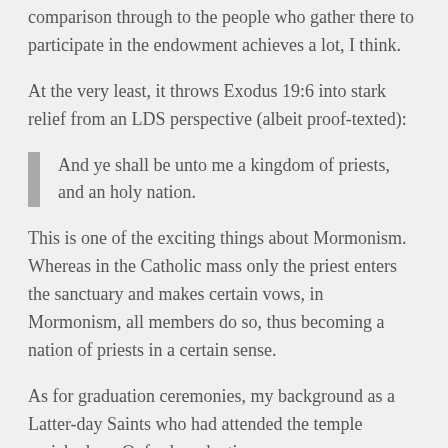comparison through to the people who gather there to participate in the endowment achieves a lot, I think.
At the very least, it throws Exodus 19:6 into stark relief from an LDS perspective (albeit proof-texted):
And ye shall be unto me a kingdom of priests, and an holy nation.
This is one of the exciting things about Mormonism. Whereas in the Catholic mass only the priest enters the sanctuary and makes certain vows, in Mormonism, all members do so, thus becoming a nation of priests in a certain sense.
As for graduation ceremonies, my background as a Latter-day Saints who had attended the temple enriched my Oxford graduation